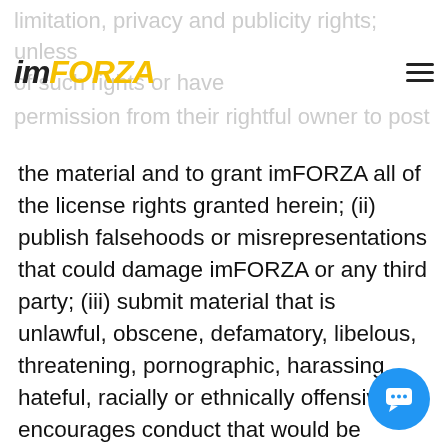imFORZA
limitation, privacy and publicity rights; unless of such rights or have permission from their rightful owner to post the material and to grant imFORZA all of the license rights granted herein; (ii) publish falsehoods or misrepresentations that could damage imFORZA or any third party; (iii) submit material that is unlawful, obscene, defamatory, libelous, threatening, pornographic, harassing, hateful, racially or ethnically offensive, or encourages conduct that would be considered a criminal offense, give rise to civil liability, violate any law, or is otherwise inappropriate; (iv) post advertisements or solicitations of a business; or (v) impersonate another person. imFORZA does not and cannot